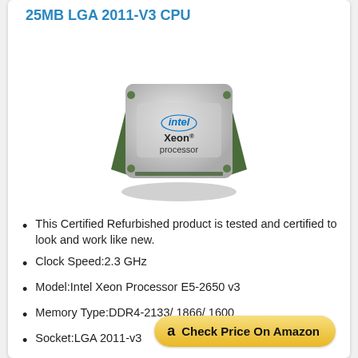25MB LGA 2011-V3 CPU
[Figure (photo): Intel Xeon Processor CPU chip, silver metallic square package with green PCB edges, showing Intel Xeon processor branding label]
This Certified Refurbished product is tested and certified to look and work like new.
Clock Speed:2.3 GHz
Model:Intel Xeon Processor E5-2650 v3
Memory Type:DDR4-2133/ 1866/ 1600
Socket:LGA 2011-v3
Check Price On Amazon